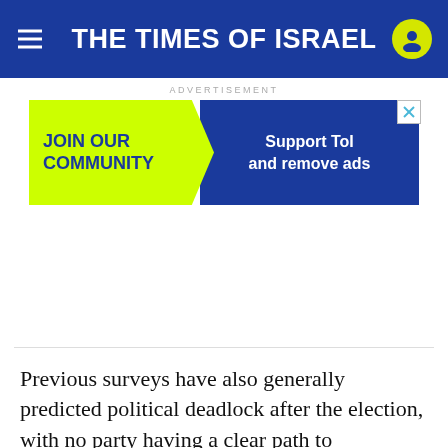THE TIMES OF ISRAEL
ADVERTISEMENT
[Figure (infographic): Advertisement banner: yellow chevron on left with 'JOIN OUR COMMUNITY' in dark blue bold text, dark blue right section with 'Support ToI and remove ads' in white bold text, close button top right.]
Previous surveys have also generally predicted political deadlock after the election, with no party having a clear path to assembling a majority coalition.